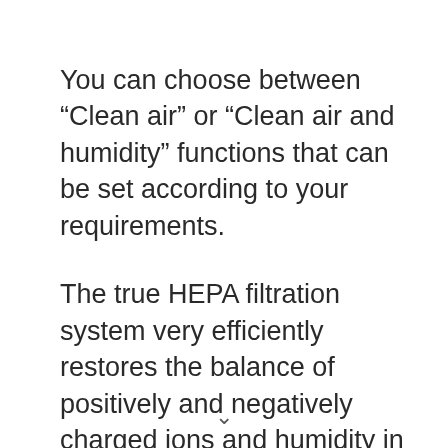You can choose between “Clean air” or “Clean air and humidity” functions that can be set according to your requirements.
The true HEPA filtration system very efficiently restores the balance of positively and negatively charged ions and humidity in the room to enjoy fresh, cleaner air.